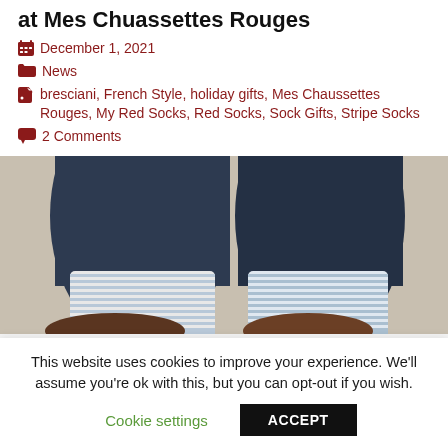at Mes Chuassettes Rouges
December 1, 2021
News
bresciani, French Style, holiday gifts, Mes Chaussettes Rouges, My Red Socks, Red Socks, Sock Gifts, Stripe Socks
2 Comments
[Figure (photo): Close-up photo of legs wearing blue trousers and striped blue-white socks with brown leather shoes]
This website uses cookies to improve your experience. We'll assume you're ok with this, but you can opt-out if you wish.
Cookie settings   ACCEPT